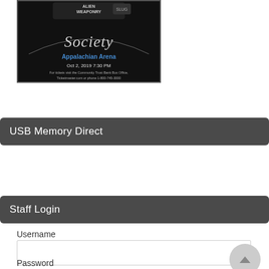[Figure (photo): Concert poster for a rock event featuring 'Alien Weaponry' and 'Society' at Appalachian Arena, Oct 2, 2019 7:30 PM. Text at bottom: For tickets visit the Community Trust Bank Box Office, Ticketmaster.com or phone 1-800-745-3000]
USB Memory Direct
www.usbmemorydirect.com
Staff Login
Username
Password